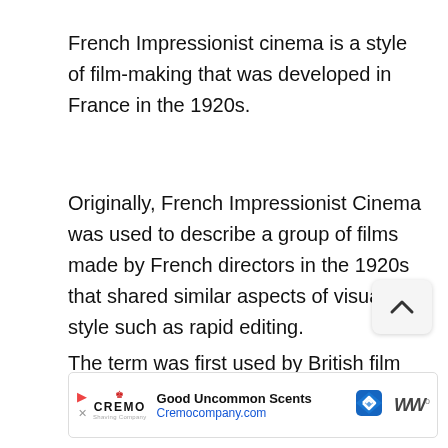French Impressionist cinema is a style of film-making that was developed in France in the 1920s.
Originally, French Impressionist Cinema was used to describe a group of films made by French directors in the 1920s that shared similar aspects of visual style such as rapid editing.
The term was first used by British film critic Paul Rotha to describe a group of films that included:
[Figure (other): Advertisement banner for Cremo company showing 'Good Uncommon Scents' and Cremocompany.com URL, with close button, Cremo logo, a blue diamond navigation icon, and WC superscript icon.]